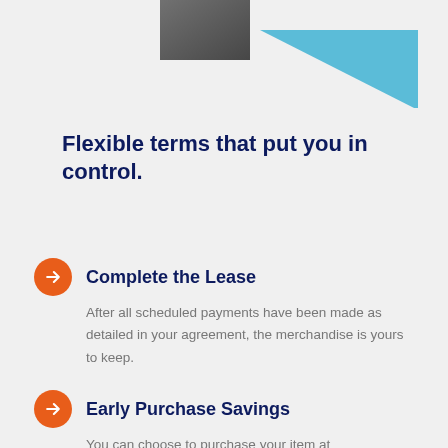[Figure (illustration): Partial photo of a person at top left and a blue triangle graphic at top right on a light gray background.]
Flexible terms that put you in control.
Complete the Lease
After all scheduled payments have been made as detailed in your agreement, the merchandise is yours to keep.
Early Purchase Savings
You can choose to purchase your item at